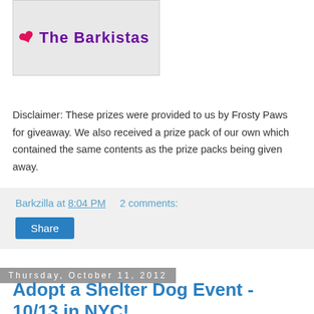[Figure (logo): The Barkistas logo with pink lips icon and purple text on light gray background]
Disclaimer: These prizes were provided to us by Frosty Paws for giveaway. We also received a prize pack of our own which contained the same contents as the prize packs being given away.
Barkzilla at 8:04 PM    2 comments:
Share
Thursday, October 11, 2012
Adopt a Shelter Dog Event - 10/13 in NYC!